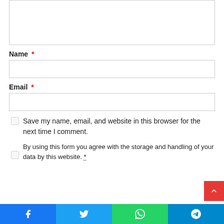[Figure (screenshot): Top portion of a comment/contact form textarea (partially visible, cut off at top)]
Name *
[Figure (screenshot): Name input field (empty text box)]
Email *
[Figure (screenshot): Email input field (empty text box)]
Save my name, email, and website in this browser for the next time I comment.
By using this form you agree with the storage and handling of your data by this website. *
[Figure (screenshot): Social sharing bar with Facebook, Twitter, WhatsApp, and Telegram buttons at the bottom]